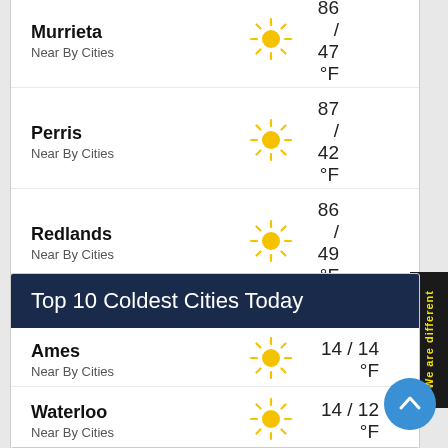Lake Elsinore
Near By Cities
87 / 44 °F
Menifee
Near By Cities
87 / 39 °F
Murrieta
Near By Cities
86 / 47 °F
Perris
Near By Cities
87 / 42 °F
Redlands
Near By Cities
86 / 49 °F
Rialto
Near By Cities
87 / 54 °F
Riverside
Near By Cities
87 / 57 °F
Top 10 Coldest Cities Today
Ames
Near By Cities
14 / 14 °F
Waterloo
Near By Cities
14 / 12 °F